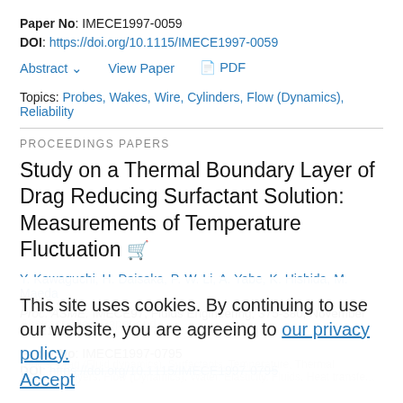Paper No: IMECE1997-0059
DOI: https://doi.org/10.1115/IMECE1997-0059
Abstract  View Paper  PDF
Topics: Probes, Wakes, Wire, Cylinders, Flow (Dynamics), Reliability
PROCEEDINGS PAPERS
Study on a Thermal Boundary Layer of Drag Reducing Surfactant Solution: Measurements of Temperature Fluctuation
Y. Kawaguchi, H. Daisaka, P. W. Li, A. Yabe, K. Hishida, M. Maeda
Proc. ASME. IMECE97, Fluids Engineering, 375-380, November 16–21, 1997
Paper No: IMECE1997-0795
DOI: https://doi.org/10.1115/IMECE1997-0795
This site uses cookies. By continuing to use our website, you are agreeing to our privacy policy. Accept